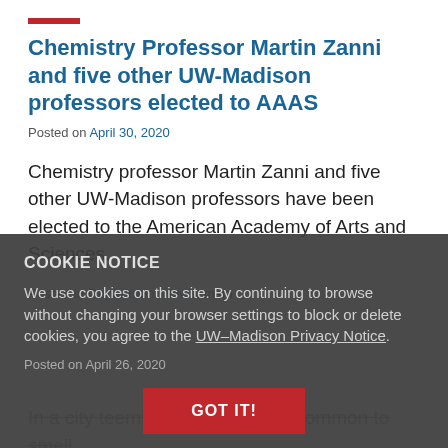Chemistry Professor Martin Zanni and five other UW-Madison professors elected to AAAS
Posted on April 30, 2020
Chemistry professor Martin Zanni and five other UW-Madison professors have been elected to the American Academy of Arts and Sciences.
Posted in Department News, main
COOKIE NOTICE
We use cookies on this site. By continuing to browse without changing your browser settings to block or delete cookies, you agree to the UW–Madison Privacy Notice.
Posted on April 26, 2020
In a city teeming with traffic, it's common to smell
GOT IT!